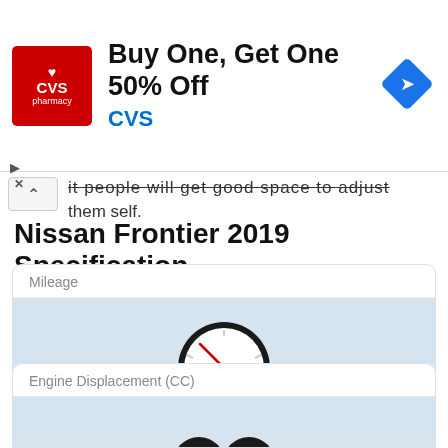[Figure (other): CVS Pharmacy advertisement banner: Buy One, Get One 50% Off CVS, with CVS pharmacy logo on left and navigation/map icon on right]
it people will get good space to adjust them self.
Nissan Frontier 2019 Specification
Mileage
[Figure (other): Fuel gauge / speedometer icon showing gauge needle and gas pump symbol, dark circular gauge on light blue background]
19 City / 23 Hwy MPG
Engine Displacement (CC)